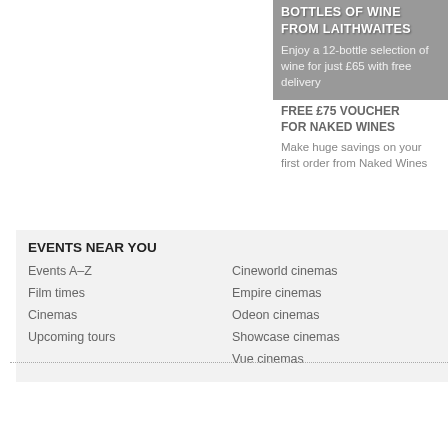BOTTLES OF WINE FROM LAITHWAITES
Enjoy a 12-bottle selection of wine for just £65 with free delivery
FREE £75 VOUCHER FOR NAKED WINES
Make huge savings on your first order from Naked Wines
EVENTS NEAR YOU
Events A–Z
Film times
Cinemas
Upcoming tours
Cineworld cinemas
Empire cinemas
Odeon cinemas
Showcase cinemas
Vue cinemas